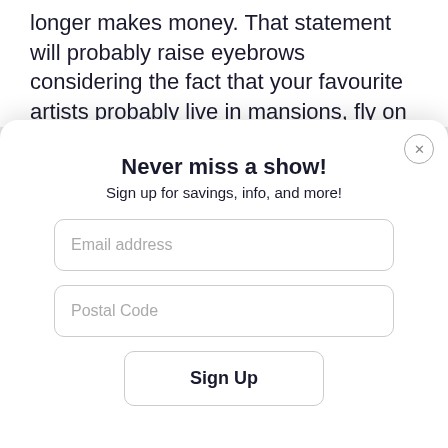longer makes money. That statement will probably raise eyebrows considering the fact that your favourite artists probably live in mansions, fly on
Never miss a show!
Sign up for savings, info, and more!
Email address
Postal Code
Sign Up